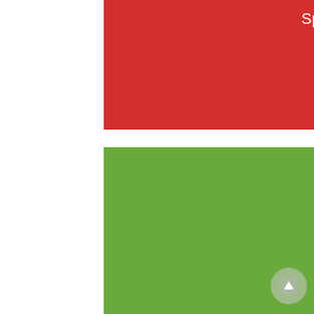Spiritual Celebrations
Enduring love
[Figure (illustration): Camera icon in white circle on green background]
Wellness Wisdom
Making a Memory